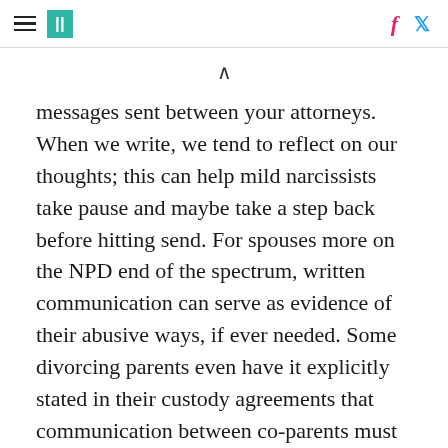HuffPost navigation and social icons
messages sent between your attorneys. When we write, we tend to reflect on our thoughts; this can help mild narcissists take pause and maybe take a step back before hitting send. For spouses more on the NPD end of the spectrum, written communication can serve as evidence of their abusive ways, if ever needed. Some divorcing parents even have it explicitly stated in their custody agreements that communication between co-parents must be written except in case of emergency.
As you ease into written communication, be a good